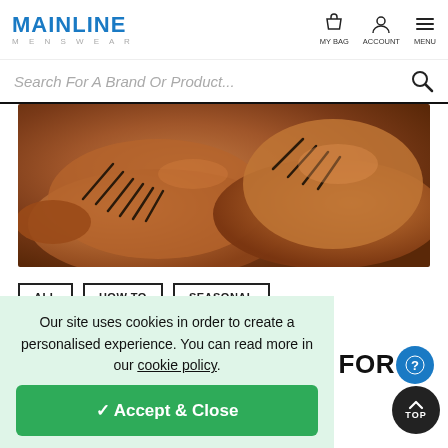MAINLINE MENSWEAR
Search For A Brand Or Product...
[Figure (photo): Close-up photo of brown leather men's dress shoes/boots with dark laces]
ALL
HOW TO
SEASONAL
September 23, 2019
BOOT UP: BEST BOOTS FOR MEN THIS
Our site uses cookies in order to create a personalised experience. You can read more in our cookie policy.
✓ Accept & Close